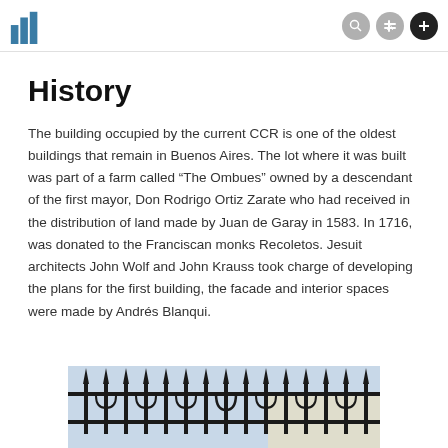Wikipedia-style article header with logo and navigation icons
History
The building occupied by the current CCR is one of the oldest buildings that remain in Buenos Aires. The lot where it was built was part of a farm called “The Ombues” owned by a descendant of the first mayor, Don Rodrigo Ortiz Zarate who had received in the distribution of land made by Juan de Garay in 1583. In 1716, was donated to the Franciscan monks Recoletos. Jesuit architects John Wolf and John Krauss took charge of developing the plans for the first building, the facade and interior spaces were made by Andrés Blanqui.
[Figure (photo): Wrought iron fence with decorative spikes and scrollwork, photographed against a light sky background]